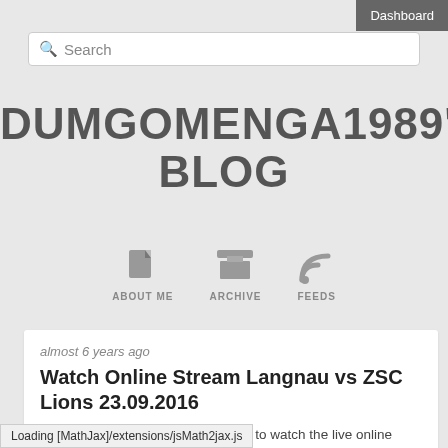Dashboard
Search
DUMGOMENGA1989'S BLOG
[Figure (infographic): Navigation icons: ABOUT ME (document icon), ARCHIVE (archive box icon), FEEDS (RSS feed icon)]
almost 6 years ago
Watch Online Stream Langnau vs ZSC Lions 23.09.2016
This site provides you with the links to watch the live online streaming of Langnau v ZSC Lions game. Our site supplies you with more streams and more links to watch Langnau v
Loading [MathJax]/extensions/jsMath2jax.js